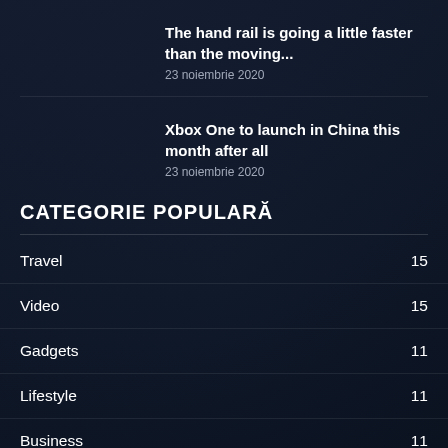The hand rail is going a little faster than the moving...
23 noiembrie 2020
Xbox One to launch in China this month after all
23 noiembrie 2020
CATEGORIE POPULARĂ
Travel 15
Video 15
Gadgets 11
Lifestyle 11
Business 11